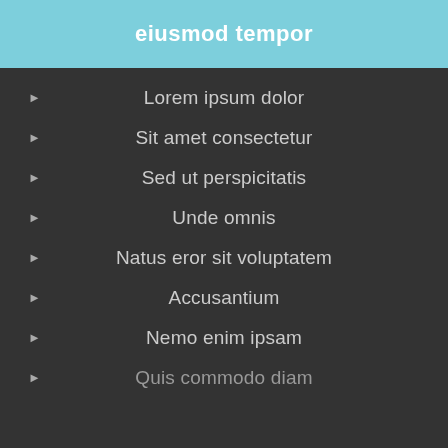eiusmod tempor
Lorem ipsum dolor
Sit amet consectetur
Sed ut perspicitatis
Unde omnis
Natus eror sit voluptatem
Accusantium
Nemo enim ipsam
Quis commodo diam